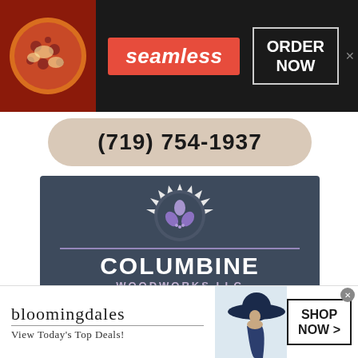[Figure (advertisement): Seamless food delivery ad banner with pizza image on left, seamless red logo in center, ORDER NOW button on right, dark background]
(719) 754-1937
[Figure (logo): Columbine Woodworks LLC advertisement with saw blade logo, company name, phone 719.850.7555, Serving Colorado, 2021 Best of Houzz badge, dark blue-gray background]
[Figure (advertisement): Bloomingdales ad: bloomingdales logo, View Today's Top Deals!, woman with hat image, SHOP NOW button]